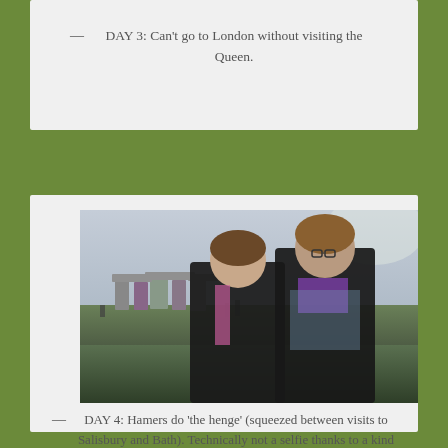— DAY 3: Can't go to London without visiting the Queen.
[Figure (photo): Two people posing for a selfie at Stonehenge. The ancient stone monument is visible in the background under an overcast sky. Both individuals are wearing jackets; one in pink and black, the other in purple and black with glasses.]
— DAY 4: Hamers do 'the henge' (squeezed between visits to Salisbury and Bath). Technically not a selfie thanks to a kind Aussie chap on the tour, but close enough.